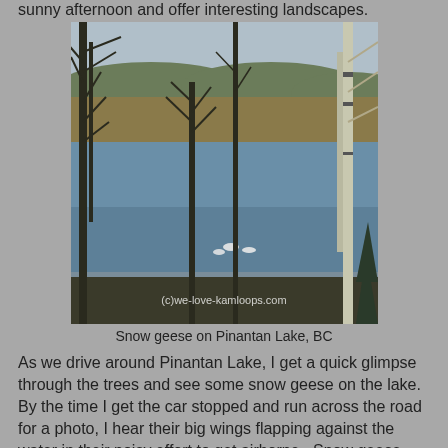sunny afternoon and offer interesting landscapes.
[Figure (photo): Winter lakeside scene viewed through bare deciduous trees. A lake (Pinantan Lake, BC) is visible in the foreground with birds on the water. Snow geese can be seen on the lake surface. Behind the lake is a broad valley with dormant brown vegetation and forested hills in the background under an overcast sky. A watermark reads '(c)we-love-kamloops.com'.]
Snow geese on Pinantan Lake, BC
As we drive around Pinantan Lake, I get a quick glimpse through the trees and see some snow geese on the lake. By the time I get the car stopped and run across the road for a photo, I hear their big wings flapping against the water in their noisy effort to get airborne.  Snow geese typically head south for the winter so perhaps they have stopped here for a